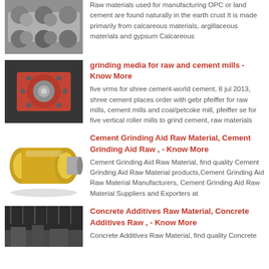Raw materials used for manufacturing OPC or land cement are found naturally in the earth crust It is made primarily from calcareous materials, argillaceous materials and gypsum Calcareous
[Figure (photo): Industrial metal rollers/rings stacked in a factory setting]
grinding media for raw and cement mills - Know More
[Figure (photo): Orange mechanical part with bolts on a dark metal background]
five vrms for shree cement-world cement, 8 jul 2013, shree cement places order with gebr pfeiffer for raw mills, cement mills and coal/petcoke mill, pfeiffer se for five vertical roller mills to grind cement, raw materials
Cement Grinding Aid Raw Material, Cement Grinding Aid Raw , - Know More
[Figure (photo): Yellow industrial roller/cylinder tool on white background]
Cement Grinding Aid Raw Material, find quality Cement Grinding Aid Raw Material products,Cement Grinding Aid Raw Material Manufacturers, Cement Grinding Aid Raw Material Suppliers and Exporters at
Concrete Additives Raw Material, Concrete Additives Raw , - Know More
[Figure (photo): Factory interior with industrial machinery and lighting]
Concrete Additives Raw Material, find quality Concrete